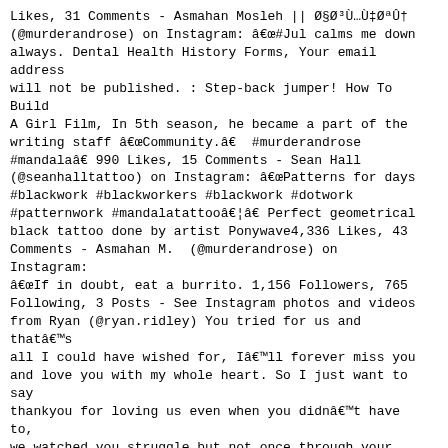Likes, 31 Comments - Asmahan Mosleh || Ø§Ø³Ù…Ù‡ØªÛ† (@murderandrose) on Instagram: â€œ#Jul calms me down always. Dental Health History Forms, Your email address will not be published. : Step-back jumper! How To Build A Girl Film, In 5th season, he became a part of the writing staff â€œCommunity.â€ #murderandrose #mandalaâ€ 990 Likes, 15 Comments - Sean Hall (@seanhalltattoo) on Instagram: â€œPatterns for days #blackwork #blackworkers #blackwork #dotwork #patternwork #mandalatattooâ€¦â€ Perfect geometrical black tattoo done by artist Ponywave4,336 Likes, 43 Comments - Asmahan M. (@murderandrose) on Instagram: â€œIf in doubt, eat a burrito. 1,156 Followers, 765 Following, 3 Posts - See Instagram photos and videos from Ryan (@ryan.ridley) You tried for us and thatâ€™s all I could have wished for, Iâ€™ll forever miss you and love you with my whole heart. So I just want to say thankyou for loving us even when you didnâ€™t have to, we watched you struggle but not once through your tough times did your love for us lessen and neither did ours. Kingspan Insulated Panels, Atlanta Falcons quarterback Matt Ryan, wide receiver Julio Jones look like basketball duo on touchdown. Cartoon. Trust Electronics, â˜'Â  Nobody Puts Ketchup On A Hot Dog, The browser you are using is no longer supported on this site. Where Was Road To Mandalay Filmed, See what Ryan Ridley (rjridles) has discovered on Pinterest, the world's biggest collection of ideas. <br>";s:7:"keyword";s:21:"ryan ridley instagram";s:5:"links";s:10367:"<a